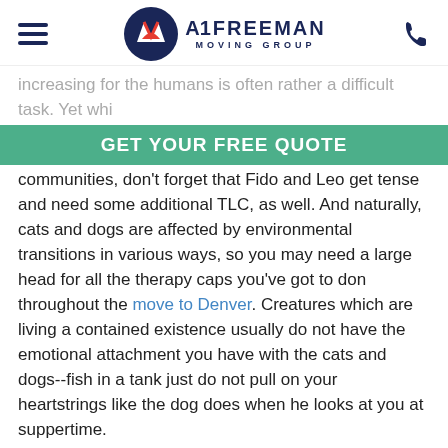A1 Freeman Moving Group
increasing for the humans is often rather a difficult task. Yet while you're likely to verify that your youngsters are okay with leaving their schools, buddies, and communities, don't forget that Fido and Leo get tense and need some additional TLC, as well. And naturally, cats and dogs are affected by environmental transitions in various ways, so you may need a large head for all the therapy caps you've got to don throughout the move to Denver. Creatures which are living a contained existence usually do not have the emotional attachment you have with the cats and dogs--fish in a tank just do not pull on your heartstrings like the dog does when he looks at you at suppertime. Here is how you will be able to keep your household pets comfortable and happy when you move to Denver--so at least someone in the household is not a jittery mess.
GET YOUR FREE QUOTE